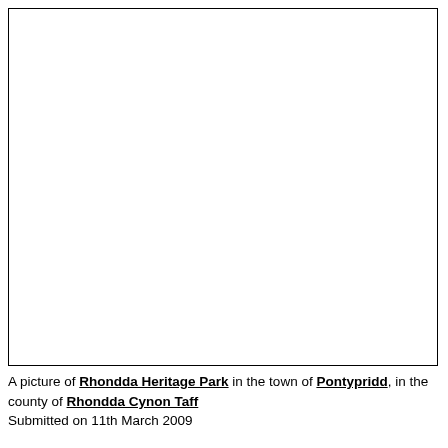[Figure (photo): A blank white image box with black border, representing a picture of Rhondda Heritage Park in Pontypridd, Rhondda Cynon Taff.]
A picture of Rhondda Heritage Park in the town of Pontypridd, in the county of Rhondda Cynon Taff
Submitted on 11th March 2009